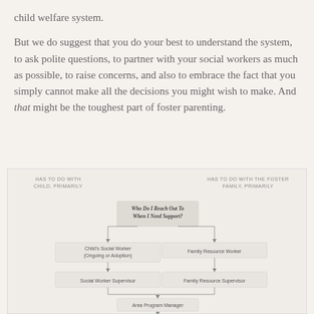child welfare system.
But we do suggest that you do your best to understand the system, to ask polite questions, to partner with your social workers as much as possible, to raise concerns, and also to embrace the fact that you simply cannot make all the decisions you might wish to make. And that might be the toughest part of foster parenting.
[Figure (flowchart): Organizational flowchart titled 'Who Do I Reach Out To When I Need Support?' with two branches: left branch (has to do with child, primarily) goes Child's Social Worker (Ongoing or Adoption) -> Social Worker Supervisor -> Area Program Manager -> Regional Director; right branch (has to do with the foster family, primarily) goes Family Resource Worker -> Family Resource Supervisor -> Area Program Manager -> Regional Director]